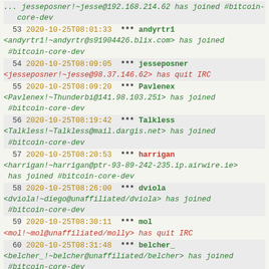... jesseposner!~jesse@192.168.214.62 has joined #bitcoin-core-dev
53  2020-10-25T08:01:33  *** andyrtr1 <andyrtr1!~andyrtr@s91904426.blix.com> has joined #bitcoin-core-dev
54  2020-10-25T08:09:05  *** jesseposner <jesseposner!~jesse@98.37.146.62> has quit IRC
55  2020-10-25T08:09:20  *** Pavlenex <Pavlenex!~Thunderbi@141.98.103.251> has joined #bitcoin-core-dev
56  2020-10-25T08:19:42  *** Talkless <Talkless!~Talkless@mail.dargis.net> has joined #bitcoin-core-dev
57  2020-10-25T08:20:53  *** harrigan <harrigan!~harrigan@ptr-93-89-242-235.ip.airwire.ie> has joined #bitcoin-core-dev
58  2020-10-25T08:26:00  *** dviola <dviola!~diego@unaffiliated/dviola> has joined #bitcoin-core-dev
59  2020-10-25T08:30:11  *** mol <mol!~mol@unaffiliated/molly> has quit IRC
60  2020-10-25T08:31:48  *** belcher_ <belcher_!~belcher@unaffiliated/belcher> has joined #bitcoin-core-dev
61  2020-10-25T08:35:02  *** belcher <belcher!~belcher@unaffiliated/belcher> has quit IRC
62  2020-10-25T09:00:01  *** andyrtr1 <andyrtr1!~andyrtr@s91904426.blix.com> has quit IRC
63  2020-10-25T09:01:51  *** ... has joined ...